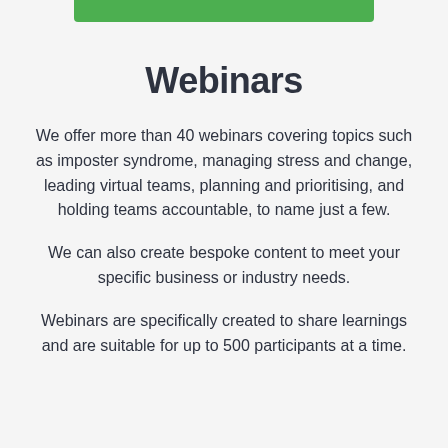Webinars
We offer more than 40 webinars covering topics such as imposter syndrome, managing stress and change, leading virtual teams, planning and prioritising, and holding teams accountable, to name just a few.
We can also create bespoke content to meet your specific business or industry needs.
Webinars are specifically created to share learnings and are suitable for up to 500 participants at a time.